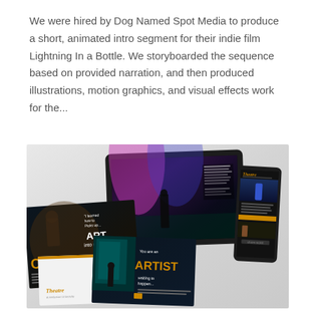We were hired by Dog Named Spot Media to produce a short, animated intro segment for their indie film Lightning In a Bottle. We storyboarded the sequence based on provided narration, and then produced illustrations, motion graphics, and visual effects work for the...
[Figure (photo): A collage of marketing and design materials including: a tablet showing a theatrical stage scene with dramatic lighting, a phone mockup showing a Theatre website/email, dark marketing cards with text 'ART into my CAREER' and 'You are an ARTIST waiting to happen...', and a white brochure with Theatre logo and dancer silhouette.]